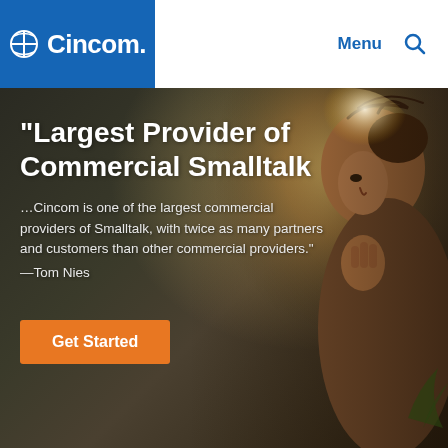Cincom — Menu
"Largest Provider of Commercial Smalltalk
…Cincom is one of the largest commercial providers of Smalltalk, with twice as many partners and customers than other commercial providers."
—Tom Nies
Get Started
[Figure (photo): Hero image of a person in contemplative pose with warm backlit glow, overlaid with text about Cincom being the largest provider of commercial Smalltalk]